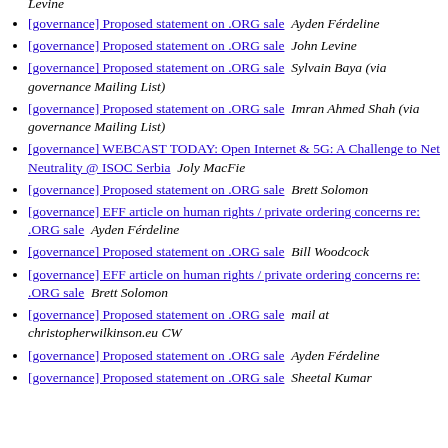[governance] Proposed statement on .ORG sale  Levine
[governance] Proposed statement on .ORG sale  Ayden Férdeline
[governance] Proposed statement on .ORG sale  John Levine
[governance] Proposed statement on .ORG sale  Sylvain Baya (via governance Mailing List)
[governance] Proposed statement on .ORG sale  Imran Ahmed Shah (via governance Mailing List)
[governance] WEBCAST TODAY: Open Internet & 5G: A Challenge to Net Neutrality @ ISOC Serbia  Joly MacFie
[governance] Proposed statement on .ORG sale  Brett Solomon
[governance] EFF article on human rights / private ordering concerns re: .ORG sale  Ayden Férdeline
[governance] Proposed statement on .ORG sale  Bill Woodcock
[governance] EFF article on human rights / private ordering concerns re: .ORG sale  Brett Solomon
[governance] Proposed statement on .ORG sale  mail at christopherwilkinson.eu CW
[governance] Proposed statement on .ORG sale  Ayden Férdeline
[governance] Proposed statement on .ORG sale  Sheetal Kumar